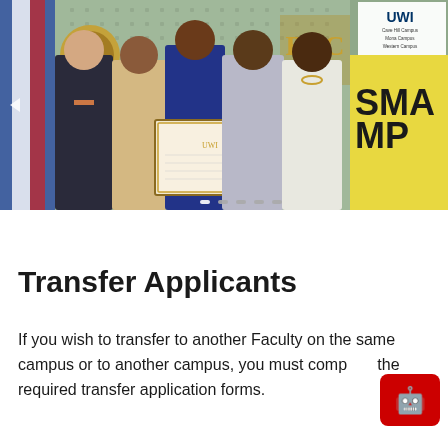[Figure (photo): Group photo of five people standing and posing together. They appear to be at an official ceremony or signing event. In the background are banners including a UWI (University of the West Indies) Smart Campus banner in yellow/gold, a flag on the left, and what appears to be a coat of arms or institutional crest. The central figure holds a framed certificate or document. The group includes men and women dressed formally.]
Transfer Applicants
If you wish to transfer to another Faculty on the same campus or to another campus, you must complete the required transfer application forms.